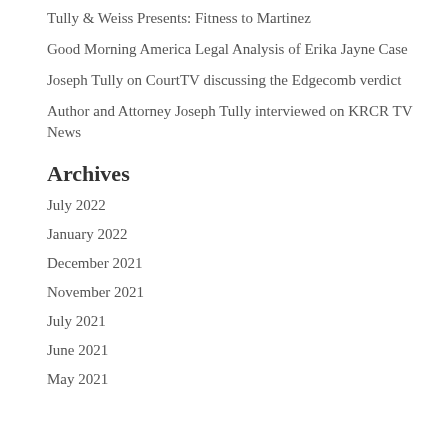Tully & Weiss Presents: Fitness to Martinez
Good Morning America Legal Analysis of Erika Jayne Case
Joseph Tully on CourtTV discussing the Edgecomb verdict
Author and Attorney Joseph Tully interviewed on KRCR TV News
Archives
July 2022
January 2022
December 2021
November 2021
July 2021
June 2021
May 2021